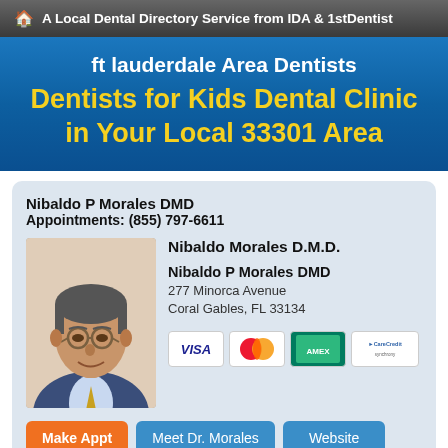A Local Dental Directory Service from IDA & 1stDentist
ft lauderdale Area Dentists
Dentists for Kids Dental Clinic in Your Local 33301 Area
Nibaldo P Morales DMD
Appointments: (855) 797-6611
[Figure (photo): Professional headshot of Dr. Nibaldo Morales, male dentist wearing glasses and a suit with tie]
Nibaldo Morales D.M.D.
Nibaldo P Morales DMD
277 Minorca Avenue
Coral Gables, FL 33134
[Figure (infographic): Payment method icons: VISA, MasterCard, American Express (green card), CareCredit]
Make Appt   Meet Dr. Morales   Website
more info ...